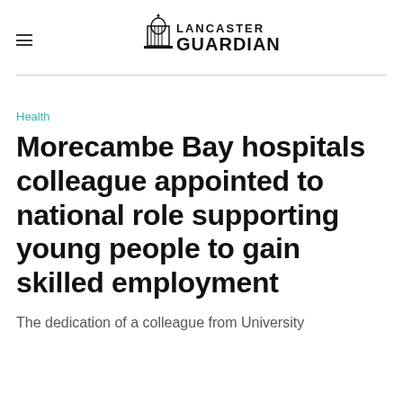Lancaster Guardian
Health
Morecambe Bay hospitals colleague appointed to national role supporting young people to gain skilled employment
The dedication of a colleague from University